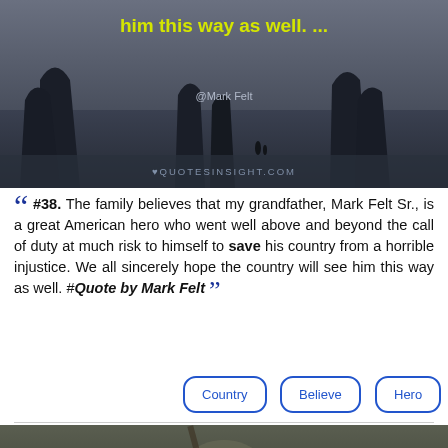[Figure (photo): Dark moody beach scene with rocky sea stacks silhouette, with yellow bold text overlay reading 'him this way as well. ...' and attribution '@Mark Felt' and watermark 'QUOTESINSIGHT.COM']
“ #38. The family believes that my grandfather, Mark Felt Sr., is a great American hero who went well above and beyond the call of duty at much risk to himself to save his country from a horrible injustice. We all sincerely hope the country will see him this way as well. #Quote by Mark Felt ”
Country
Believe
Hero
[Figure (photo): Dark background with blurred flower/plant, yellow bold uppercase text overlay reading 'MY GOAL FOR THE NEXT DECADE IS TO TRY TO MAKE IT AS EASY TO SAVE THE WORLD IN REAL LIFE AS IT IS TO SAVE THE WORLD IN ONLINE GAMES.']